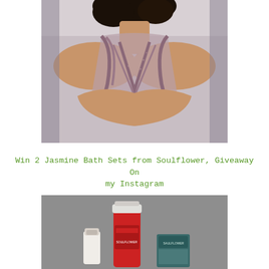[Figure (photo): Close-up photo of a woman from behind wearing a heavily beaded and embellished sheer-back gown in mauve/dusty rose color, with arms crossed]
Win 2 Jasmine Bath Sets from Soulflower, Giveaway On my Instagram
[Figure (photo): Product photo of Soulflower bath and body products including bottles and containers against a grey background]